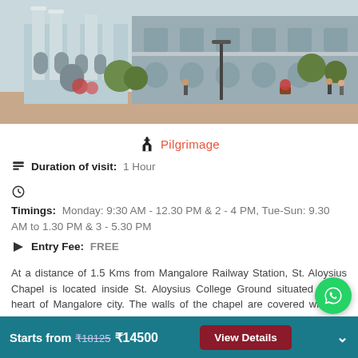[Figure (photo): Photograph of St. Aloysius Chapel building in Mangalore, a colonial-style blue-grey church building with arched windows and ornate facade, with trees and people visible in the foreground]
Pilgrimage
Duration of visit: 1 Hour
Timings: Monday: 9:30 AM - 12.30 PM & 2 - 4 PM, Tue-Sun: 9.30 AM to 1.30 PM & 3 - 5.30 PM
Entry Fee: FREE
At a distance of 1.5 Kms from Mangalore Railway Station, St. Aloysius Chapel is located inside St. Aloysius College Ground situated in the heart of Mangalore city. The walls of the chapel are covered with the paintings of the artist Antony Moshaini of Italy. The church was built in the year 1880-1899 by Father Joseph Willi. It is one of the top attr...
Starts from ₹18125 ₹14500  View Details